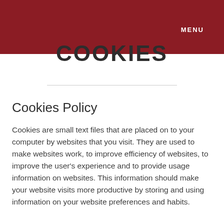MENU
COOKIES
Cookies Policy
Cookies are small text files that are placed on to your computer by websites that you visit. They are used to make websites work, to improve efficiency of websites, to improve the user's experience and to provide usage information on websites. This information should make your website visits more productive by storing and using information on your website preferences and habits.